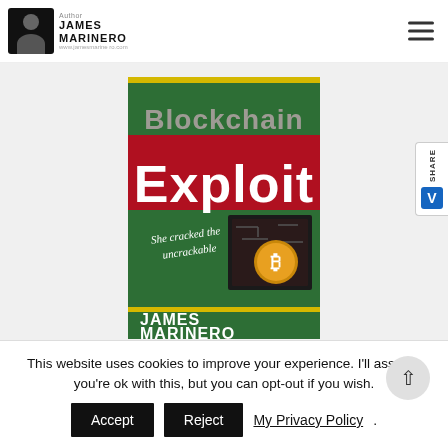[Figure (screenshot): Website header with author avatar photo, James Marinero logo text, and hamburger menu icon on right]
[Figure (photo): Book cover for 'Blockchain Exploit' by James Marinero. Green background with large red 'Exploit' text and lighter pink 'Blockchain' text. Tagline 'She cracked the uncrackable'. Image of Bitcoin coin and circuit board. Author name 'JAMES MARINERO' at bottom.]
Digital Formats
Kindle, e-Pub and Apple Books
This website uses cookies to improve your experience. I'll assume you're ok with this, but you can opt-out if you wish.